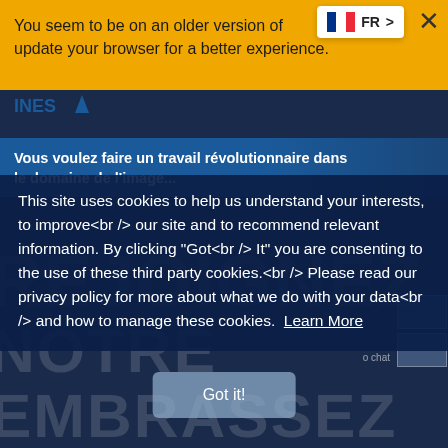[Figure (screenshot): Dark navy blue webpage background with large faded text overlays (REJOIGNEZ, NOTRE, EMBRASSEZ) visible behind content elements]
You seem to be on an older version of ... or update your browser for a better experience.
FR >
×
[Figure (logo): INES logo with blue triangle/chevron icon and text]
Vous voulez faire un travail révolutionnaire dans le domaine de l'image...
This site uses cookies to help us understand your interests, to improve<br /> our site and to recommend relevant information. By clicking "Got<br /> It" you are consenting to the use of these third party cookies.<br /> Please read our privacy policy for more about what we do with your data<br /> and how to manage these cookies.  Learn More
Got it!